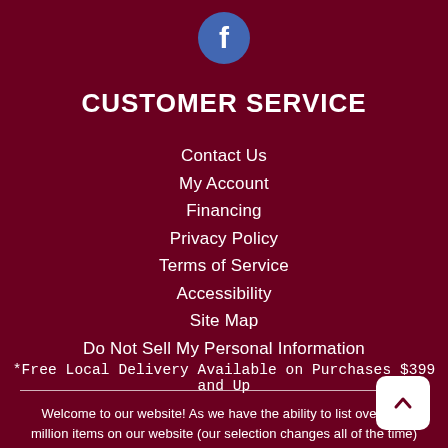[Figure (logo): Facebook icon - circular blue button with white 'f' letter]
CUSTOMER SERVICE
Contact Us
My Account
Financing
Privacy Policy
Terms of Service
Accessibility
Site Map
Do Not Sell My Personal Information
*Free Local Delivery Available on Purchases $399 and Up
Welcome to our website! As we have the ability to list over one million items on our website (our selection changes all of the time) is not feasible for a company our size to record and playback the descriptions on every item on our website. However, if you have a